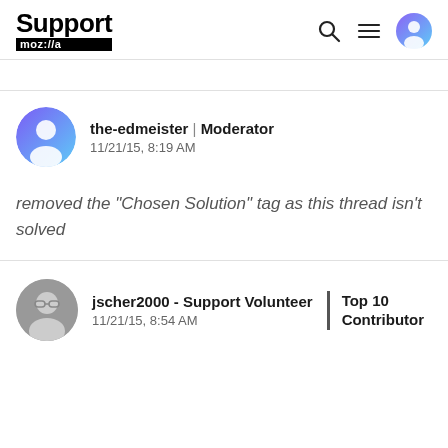Support mozilla | (search icon) (menu icon) (user icon)
the-edmeister | Moderator
11/21/15, 8:19 AM
removed the "Chosen Solution" tag as this thread isn't solved
jscher2000 - Support Volunteer
11/21/15, 8:54 AM | Top 10 Contributor